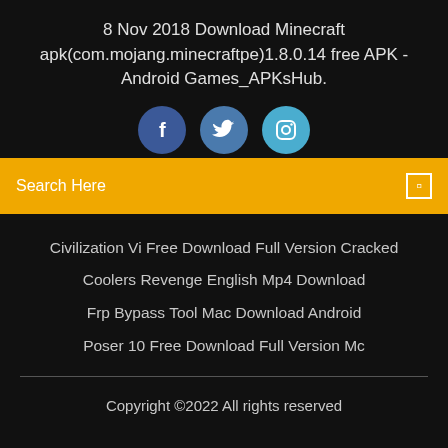8 Nov 2018 Download Minecraft apk(com.mojang.minecraftpe)1.8.0.14 free APK - Android Games_APKsHub.
[Figure (other): Three social media icons: Facebook (dark blue circle with 'f'), Twitter (medium blue circle with bird icon), Instagram (light blue circle with camera icon)]
Search Here
Civilization Vi Free Download Full Version Cracked
Coolers Revenge English Mp4 Download
Frp Bypass Tool Mac Download Android
Poser 10 Free Download Full Version Mc
Copyright ©2022 All rights reserved